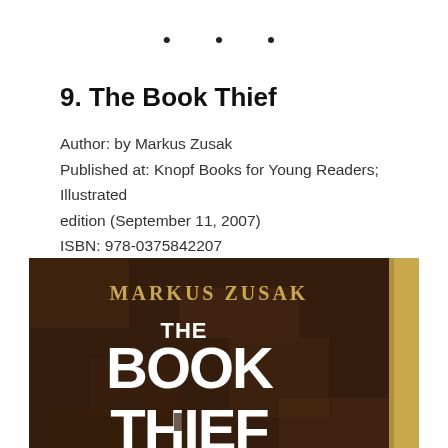• • •
9. The Book Thief
Author: by Markus Zusak
Published at: Knopf Books for Young Readers; Illustrated edition (September 11, 2007)
ISBN: 978-0375842207
[Figure (photo): Book cover of 'The Book Thief' by Markus Zusak, showing a dark brown textured background with gold text 'MARKUS ZUSAK' at top and large white distressed lettering 'THE BOOK THIEF' below, with a gold spine visible on the right edge.]